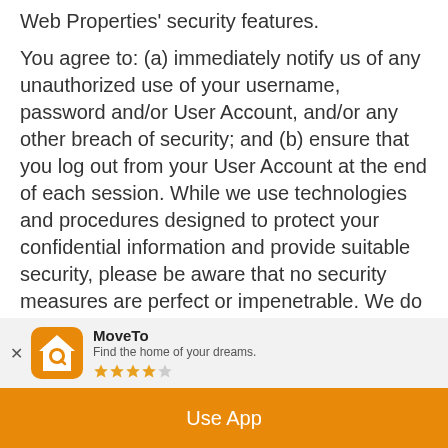Web Properties' security features.
You agree to: (a) immediately notify us of any unauthorized use of your username, password and/or User Account, and/or any other breach of security; and (b) ensure that you log out from your User Account at the end of each session. While we use technologies and procedures designed to protect your confidential information and provide suitable security, please be aware that no security measures are perfect or impenetrable. We do not and cannot guarantee or warrant that any
[Figure (infographic): MoveTo app banner with orange house/magnifying glass icon, app name 'MoveTo', tagline 'Find the home of your dreams.', and 3.5 star rating]
Use App